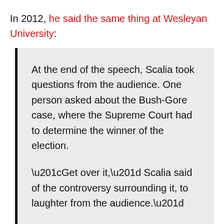In 2012, he said the same thing at Wesleyan University:
At the end of the speech, Scalia took questions from the audience. One person asked about the Bush-Gore case, where the Supreme Court had to determine the winner of the election.

“Get over it,” Scalia said of the controversy surrounding it, to laughter from the audience.”

Scalia reminded the audience it was Gore